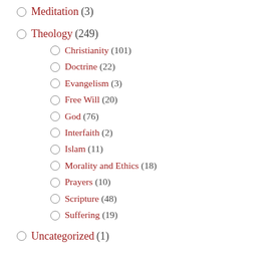Meditation (3)
Theology (249)
Christianity (101)
Doctrine (22)
Evangelism (3)
Free Will (20)
God (76)
Interfaith (2)
Islam (11)
Morality and Ethics (18)
Prayers (10)
Scripture (48)
Suffering (19)
Uncategorized (1)